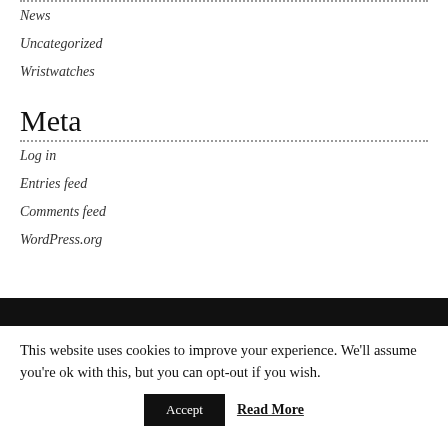News
Uncategorized
Wristwatches
Meta
Log in
Entries feed
Comments feed
WordPress.org
This website uses cookies to improve your experience. We'll assume you're ok with this, but you can opt-out if you wish.
Accept  Read More